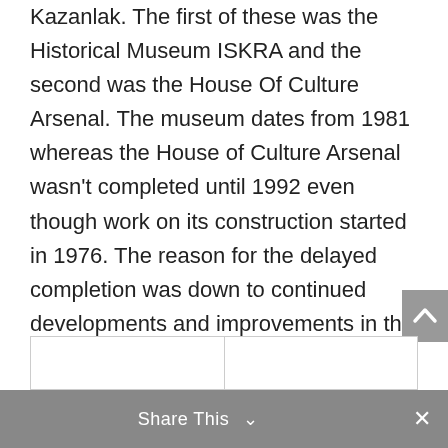Kazanlak. The first of these was the Historical Museum ISKRA and the second was the House Of Culture Arsenal. The museum dates from 1981 whereas the House of Culture Arsenal wasn't completed until 1992 even though work on its construction started in 1976. The reason for the delayed completion was down to continued developments and improvements in the overall design of the structure for which there weren't funds due to the turbulent economic crisis that took place in Bulgaria during the late 1980s.
|  |  |